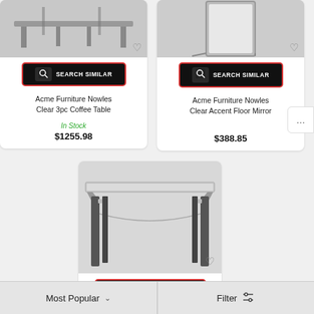[Figure (photo): Acme Furniture Nowles Clear 3pc Coffee Table product photo - top portion visible]
[Figure (photo): Acme Furniture Nowles Clear Accent Floor Mirror product photo - top portion visible]
SEARCH SIMILAR
SEARCH SIMILAR
Acme Furniture Nowles Clear 3pc Coffee Table
Acme Furniture Nowles Clear Accent Floor Mirror
In Stock
$1255.98
$388.85
[Figure (photo): Console/sofa table with mirrored top and dark legs product photo]
SEARCH SIMILAR
Most Popular
Filter